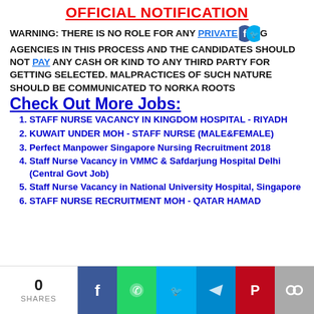OFFICIAL NOTIFICATION
WARNING: THERE IS NO ROLE FOR ANY PRIVATE RECRUITING AGENCIES IN THIS PROCESS AND THE CANDIDATES SHOULD NOT PAY ANY CASH OR KIND TO ANY THIRD PARTY FOR GETTING SELECTED. MALPRACTICES OF SUCH NATURE SHOULD BE COMMUNICATED TO NORKA ROOTS
Check Out More Jobs:
STAFF NURSE VACANCY IN KINGDOM HOSPITAL - RIYADH
KUWAIT UNDER MOH - STAFF NURSE (MALE&FEMALE)
Perfect Manpower Singapore Nursing Recruitment 2018
Staff Nurse Vacancy in VMMC & Safdarjung Hospital Delhi (Central Govt Job)
Staff Nurse Vacancy in National University Hospital, Singapore
STAFF NURSE RECRUITMENT MOH - QATAR HAMAD
0 SHARES